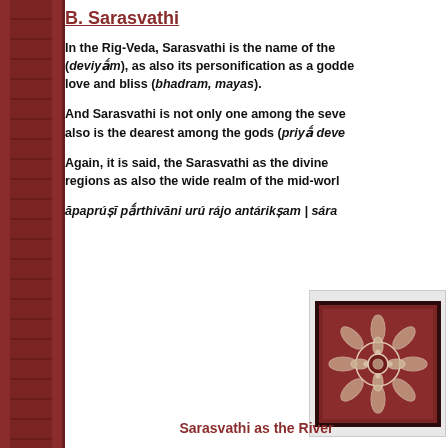B. Sarasvathi
In the Rig-Veda, Sarasvathi is the name of the (deviyā́m), as also its personification as a goddess love and bliss (bhadram, mayas).
And Sarasvathi is not only one among the seven rivers but also is the dearest among the gods (priyā́ deve...).
Again, it is said, the Sarasvathi as the divine regions as also the wide realm of the mid-world...
[Figure (illustration): Decorative tile with white mandala/lotus pattern on dark red/brown background with black border]
Sarasvathi as the River